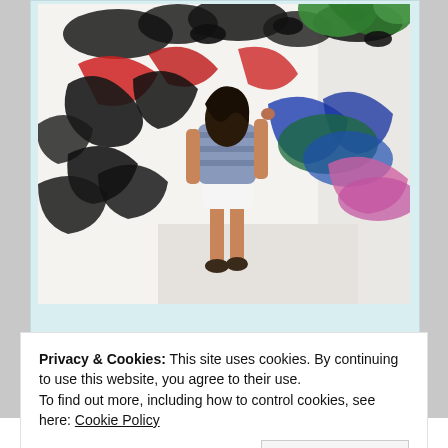[Figure (photo): A woman painting a large colorful mural on a white wall. The mural features bold black ink strokes with splashes of red, blue, green, and pink colors. The woman is seen from behind, wearing a striped top and white shorts, reaching up to paint the wall. The photo is framed in a polaroid-style mount with a light blue border.]
Privacy & Cookies: This site uses cookies. By continuing to use this website, you agree to their use.
To find out more, including how to control cookies, see here: Cookie Policy
Close and accept
camp located in Singapore. Once used as accommodations